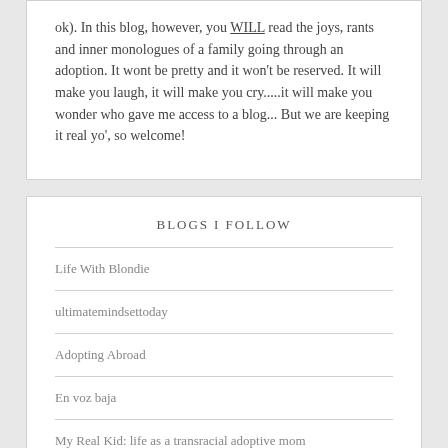ok). In this blog, however, you WILL read the joys, rants and inner monologues of a family going through an adoption. It wont be pretty and it won't be reserved. It will make you laugh, it will make you cry.....it will make you wonder who gave me access to a blog... But we are keeping it real yo', so welcome!
BLOGS I FOLLOW
Life With Blondie
ultimatemindsettoday
Adopting Abroad
En voz baja
My Real Kid: life as a transracial adoptive mom